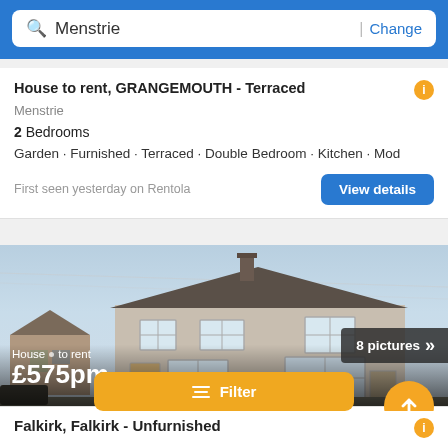Menstrie | Change
House to rent, GRANGEMOUTH - Terraced
Menstrie
2 Bedrooms
Garden · Furnished · Terraced · Double Bedroom · Kitchen · Mod
First seen yesterday on Rentola
[Figure (photo): Exterior photo of a semi-detached house with light render walls, dark roof tiles, white-framed windows, and a street view with power lines]
House to rent £575pm
8 pictures
Filter
Falkirk, Falkirk - Unfurnished